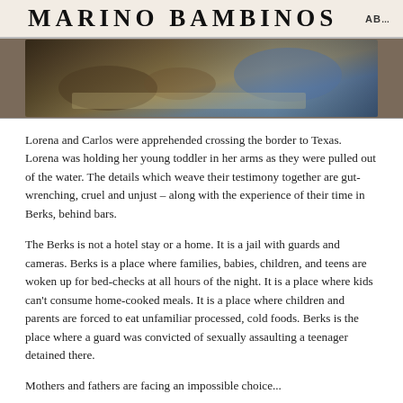MARINO BAMBINOS   AB
[Figure (photo): Children drawing or doing crafts at a table, hands and markers visible]
Lorena and Carlos were apprehended crossing the border to Texas. Lorena was holding her young toddler in her arms as they were pulled out of the water. The details which weave their testimony together are gut-wrenching, cruel and unjust – along with the experience of their time in Berks, behind bars.
The Berks is not a hotel stay or a home. It is a jail with guards and cameras. Berks is a place where families, babies, children, and teens are woken up for bed-checks at all hours of the night. It is a place where kids can't consume home-cooked meals. It is a place where children and parents are forced to eat unfamiliar processed, cold foods. Berks is the place where a guard was convicted of sexually assaulting a teenager detained there.
Mothers and fathers are facing an impossible choice...